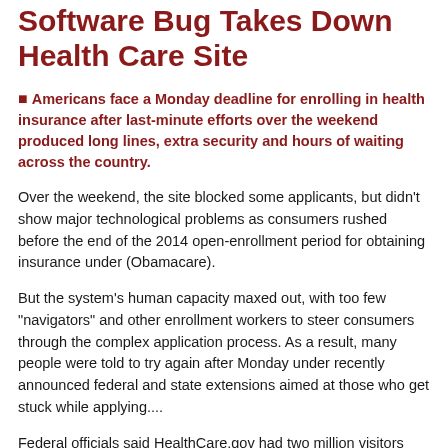Software Bug Takes Down Health Care Site
■ Americans face a Monday deadline for enrolling in health insurance after last-minute efforts over the weekend produced long lines, extra security and hours of waiting across the country.
Over the weekend, the site blocked some applicants, but didn't show major technological problems as consumers rushed before the end of the 2014 open-enrollment period for obtaining insurance under (Obamacare).
But the system's human capacity maxed out, with too few "navigators" and other enrollment workers to steer consumers through the complex application process. As a result, many people were told to try again after Monday under recently announced federal and state extensions aimed at those who get stuck while applying....
Federal officials said HealthCare.gov had two million visitors over the weekend. On Friday, the site had blocked people